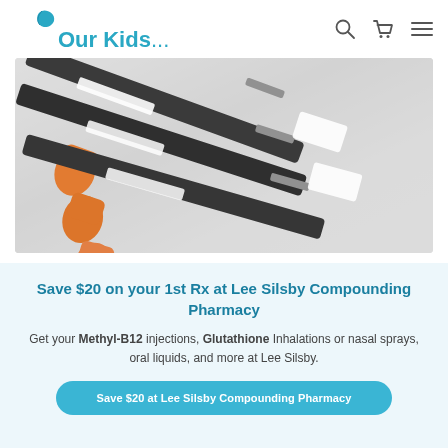[Figure (logo): Our Kids... pharmacy/health brand logo with teal text and a blue bird/leaf icon]
[Figure (photo): Close-up photo of multiple syringes with orange caps lying on a white marble surface, labeled medication vials]
Save $20 on your 1st Rx at Lee Silsby Compounding Pharmacy
Get your Methyl-B12 injections, Glutathione Inhalations or nasal sprays, oral liquids, and more at Lee Silsby.
Save $20 at Lee Silsby Compounding Pharmacy